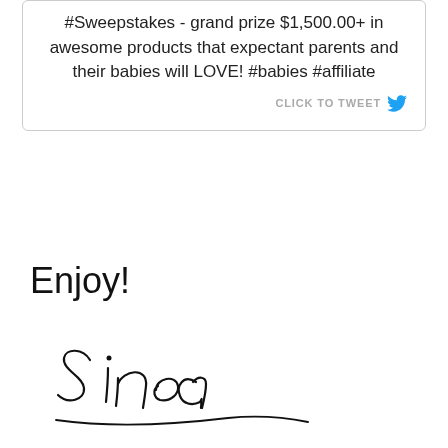#Sweepstakes - grand prize $1,500.00+ in awesome products that expectant parents and their babies will LOVE! #babies #affiliate
Enjoy!
[Figure (illustration): Handwritten cursive signature reading 'Sinea']